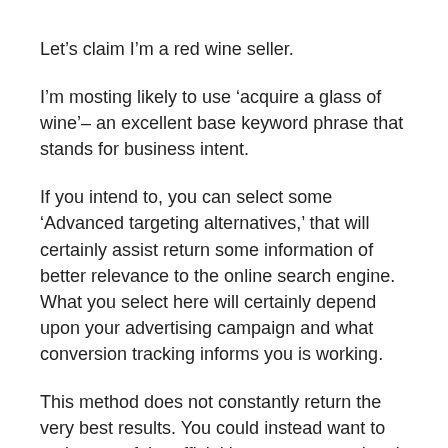Let's claim I'm a red wine seller.
I'm mosting likely to use 'acquire a glass of wine'– an excellent base keyword phrase that stands for business intent.
If you intend to, you can select some 'Advanced targeting alternatives,' that will certainly assist return some information of better relevance to the online search engine. What you select here will certainly depend upon your advertising campaign and what conversion tracking informs you is working.
This method does not constantly return the very best results. You could instead want to make use of the official number or or associate it with...